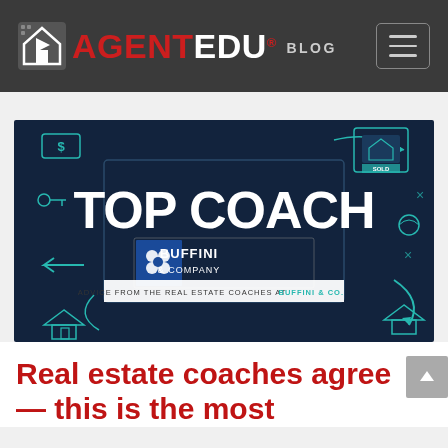AGENTEDU® BLOG
[Figure (illustration): Top Coach banner image featuring 'TOP COACH' in large white bold text, Buffini & Company logo below, and tagline 'ADVICE FROM THE REAL ESTATE COACHES AT BUFFINI & CO.' on a dark navy background with teal real estate themed illustrations]
Real estate coaches agree — this is the most